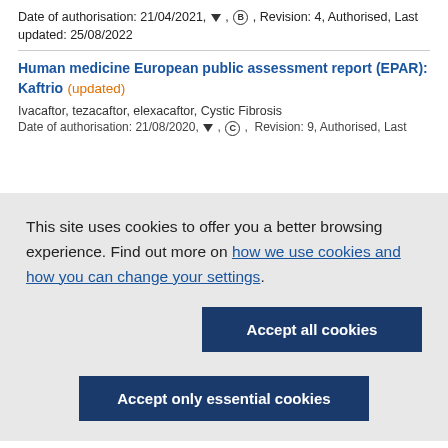Date of authorisation: 21/04/2021, ▼, B, Revision: 4, Authorised, Last updated: 25/08/2022
Human medicine European public assessment report (EPAR): Kaftrio (updated)
Ivacaftor, tezacaftor, elexacaftor, Cystic Fibrosis
Date of authorisation: 21/08/2020, ▼, C, Revision: 9, Authorised, Last
This site uses cookies to offer you a better browsing experience. Find out more on how we use cookies and how you can change your settings.
Accept all cookies
Accept only essential cookies